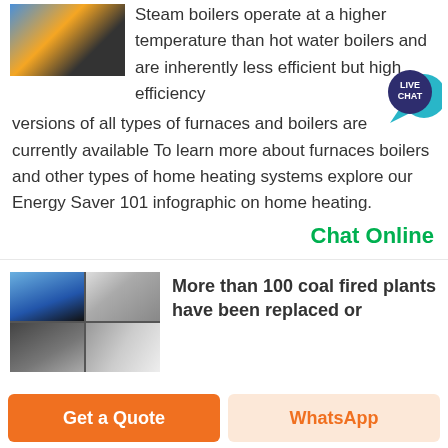[Figure (photo): Thumbnail photo of industrial boiler/heating equipment at top left]
Steam boilers operate at a higher temperature than hot water boilers and are inherently less efficient but high efficiency versions of all types of furnaces and boilers are currently available To learn more about furnaces boilers and other types of home heating systems explore our Energy Saver 101 infographic on home heating.
[Figure (infographic): Live Chat speech bubble icon — dark blue circle with LIVE CHAT text and teal bubble tail]
Chat Online
[Figure (photo): Grid of four industrial coal plant photos]
More than 100 coal fired plants have been replaced or
Get a Quote
WhatsApp